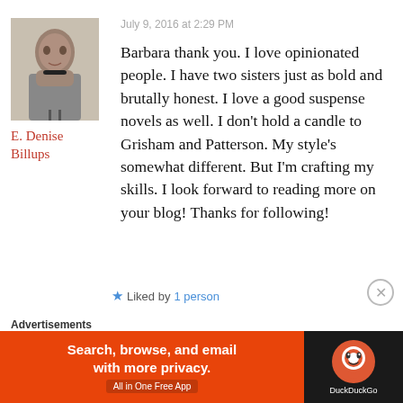July 9, 2016 at 2:29 PM
[Figure (photo): Black and white portrait photo of E. Denise Billups]
E. Denise Billups
Barbara thank you. I love opinionated people. I have two sisters just as bold and brutally honest. I love a good suspense novels as well. I don’t hold a candle to Grisham and Patterson. My style’s somewhat different. But I’m crafting my skills. I look forward to reading more on your blog! Thanks for following!
★ Liked by 1 person
Advertisements
[Figure (infographic): DuckDuckGo advertisement banner: Search, browse, and email with more privacy. All in One Free App.]